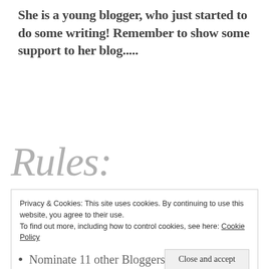She is a young blogger, who just started to do some writing! Remember to show some support to her blog.....
Rules:
Privacy & Cookies: This site uses cookies. By continuing to use this website, you agree to their use.
To find out more, including how to control cookies, see here: Cookie Policy
[Close and accept button]
Nominate 11 other Bloggers